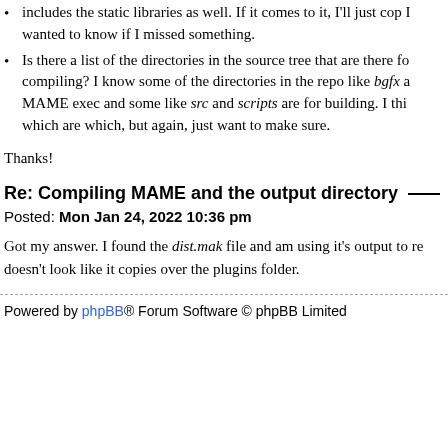includes the static libraries as well. If it comes to it, I'll just cop I wanted to know if I missed something.
Is there a list of the directories in the source tree that are there for compiling? I know some of the directories in the repo like bgfx and MAME exec and some like src and scripts are for building. I think I know which are which, but again, just want to make sure.
Thanks!
Re: Compiling MAME and the output directory
Posted: Mon Jan 24, 2022 10:36 pm
Got my answer. I found the dist.mak file and am using it's output to re doesn't look like it copies over the plugins folder.
Powered by phpBB® Forum Software © phpBB Limited